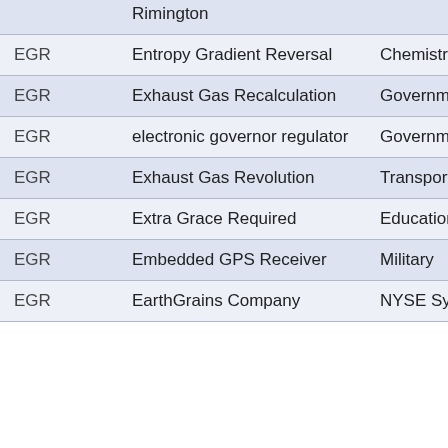| Abbreviation | Full Form | Category |
| --- | --- | --- |
| EGR | Rimington |  |
| EGR | Entropy Gradient Reversal | Chemistry |
| EGR | Exhaust Gas Recalculation | Government |
| EGR | electronic governor regulator | Government |
| EGR | Exhaust Gas Revolution | Transportation |
| EGR | Extra Grace Required | Education |
| EGR | Embedded GPS Receiver | Military |
| EGR | EarthGrains Company | NYSE Symbol |